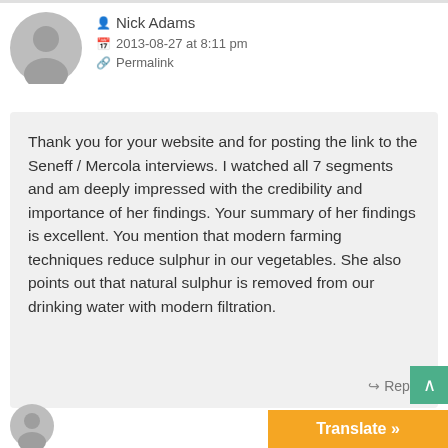[Figure (illustration): Grey circular avatar/profile placeholder icon]
Nick Adams
2013-08-27 at 8:11 pm
Permalink
Thank you for your website and for posting the link to the Seneff / Mercola interviews. I watched all 7 segments and am deeply impressed with the credibility and importance of her findings. Your summary of her findings is excellent. You mention that modern farming techniques reduce sulphur in our vegetables. She also points out that natural sulphur is removed from our drinking water with modern filtration.
Reply
Translate »